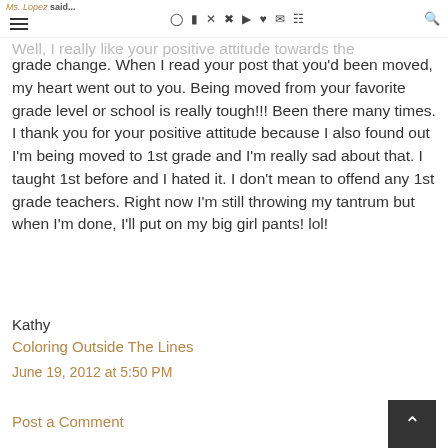Ms. Lopez said... [navigation icons] [search]
Well, I really like your positive attitude towards the grade change. When I read your post that you'd been moved, my heart went out to you. Being moved from your favorite grade level or school is really tough!!! Been there many times. I thank you for your positive attitude because I also found out I'm being moved to 1st grade and I'm really sad about that. I taught 1st before and I hated it. I don't mean to offend any 1st grade teachers. Right now I'm still throwing my tantrum but when I'm done, I'll put on my big girl pants! lol!
Kathy
Coloring Outside The Lines
June 19, 2012 at 5:50 PM
Post a Comment